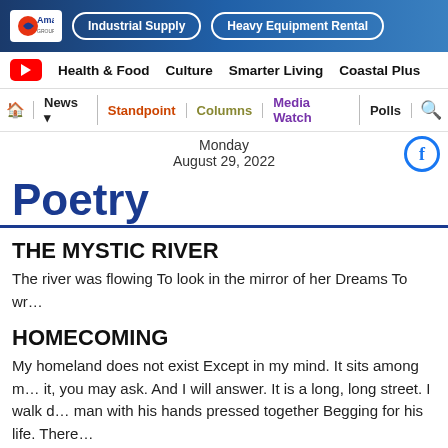[Figure (logo): Amaco group of companies banner with Industrial Supply and Heavy Equipment Rental buttons on blue gradient background]
Health & Food  Culture  Smarter Living  Coastal Plus
News  Standpoint  Columns  Media Watch  Polls
Monday
August 29, 2022
Poetry
THE MYSTIC RIVER
The river was flowing To look in the mirror of her Dreams To wr...
HOMECOMING
My homeland does not exist Except in my mind. It sits among m... it, you may ask. And I will answer. It is a long, long street. I walk d... man with his hands pressed together Begging for his life. There...